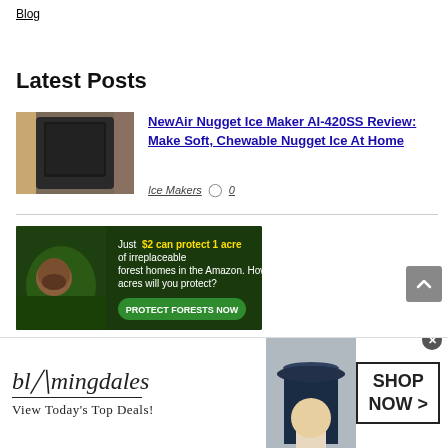Blog
Latest Posts
[Figure (photo): Photo of a black NewAir Nugget Ice Maker AI-420SS appliance]
NewAir Nugget Ice Maker AI-420SS Review: Make Soft, Chewable Nugget Ice At Home
Ice Makers ○ 0
[Figure (photo): Amazon forest advertisement banner: Just $2 can protect 1 acre of irreplaceable forest homes in the Amazon. How many acres will you protect? PROTECT FORESTS NOW]
[Figure (photo): Bloomingdale's advertisement banner: bloomingdales View Today's Top Deals! SHOP NOW >]